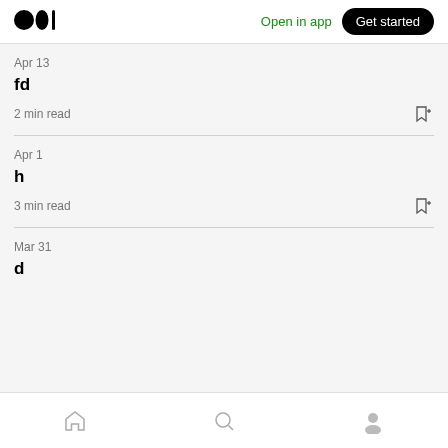Medium logo | Open in app | Get started
Apr 13
fd
2 min read
Apr 1
h
3 min read
Mar 31
d
Home | Search | Profile